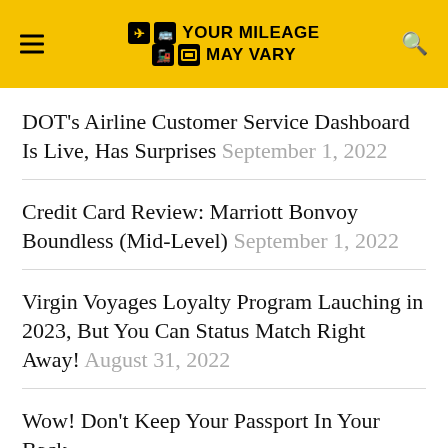YOUR MILEAGE MAY VARY
DOT's Airline Customer Service Dashboard Is Live, Has Surprises September 1, 2022
Credit Card Review: Marriott Bonvoy Boundless (Mid-Level) September 1, 2022
Virgin Voyages Loyalty Program Lauching in 2023, But You Can Status Match Right Away! August 31, 2022
Wow! Don't Keep Your Passport In Your Back Pocket (Not Theft) August 31, 2022